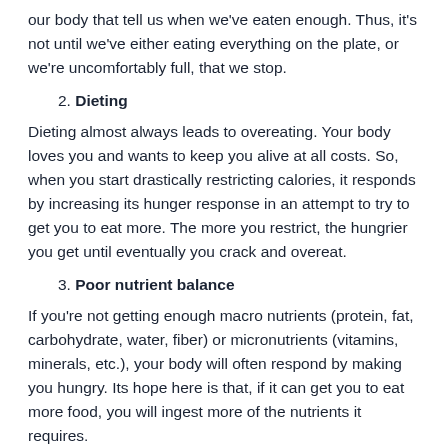our body that tell us when we've eaten enough. Thus, it's not until we've either eating everything on the plate, or we're uncomfortably full, that we stop.
2. Dieting
Dieting almost always leads to overeating. Your body loves you and wants to keep you alive at all costs. So, when you start drastically restricting calories, it responds by increasing its hunger response in an attempt to try to get you to eat more. The more you restrict, the hungrier you get until eventually you crack and overeat.
3. Poor nutrient balance
If you're not getting enough macro nutrients (protein, fat, carbohydrate, water, fiber) or micronutrients (vitamins, minerals, etc.), your body will often respond by making you hungry. Its hope here is that, if it can get you to eat more food, you will ingest more of the nutrients it requires.
4. Not enough sleep